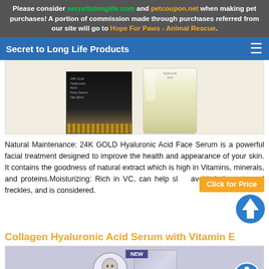Please consider secrettolonglife.com and petcoupon.net when making pet purchases! A portion of commission made through purchases referred from our site will go to Hope For Paws - Animal Rescue.
Secret to Long Life Products
[Figure (photo): Product image showing a black box with gold pattern and a clear/gold bottle of 24K GOLD Hyaluronic Acid Face Serum]
Natural Maintenance: 24K GOLD Hyaluronic Acid Face Serum is a powerful facial treatment designed to improve the health and appearance of your skin. It contains the goodness of natural extract which is high in Vitamins, minerals, and proteins.Moisturizing: Rich in VC, can help slow and dark spots and freckles, and is considered.
Collagen Hyaluronic Acid Serum with Vitamin E
[Figure (photo): Product image showing Collagen Hyaluronic Acid Serum with Vitamin E packaging with a face/profile illustration and NEW label]